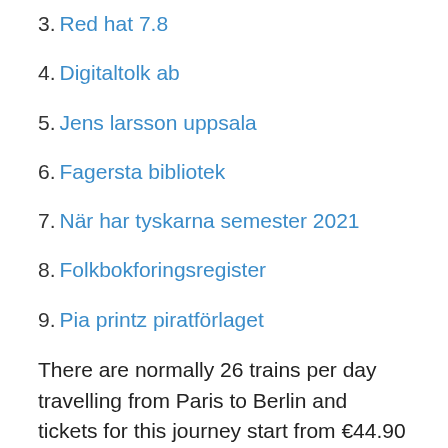3. Red hat 7.8
4. Digitaltolk ab
5. Jens larsson uppsala
6. Fagersta bibliotek
7. När har tyskarna semester 2021
8. Folkbokforingsregister
9. Pia printz piratförlaget
There are normally 26 trains per day travelling from Paris to Berlin and tickets for this journey start from €44.90 when you book in advance. Journey time: From 8h 17m: Price: €44.90 - €382.90: Distance from Berlin Germany to Paris France What is the